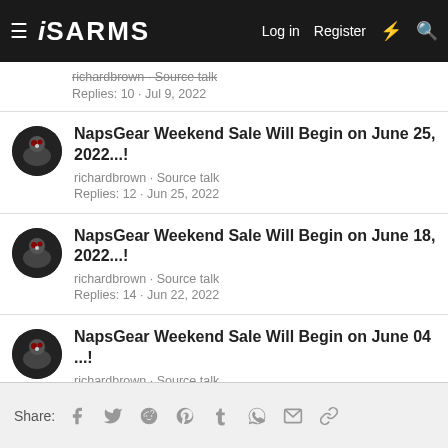iSARMS — Log in | Register
richardbrown · Source talk
Replies: 10 · Jul 9, 2022
NapsGear Weekend Sale Will Begin on June 25, 2022...!
richardbrown · Source talk
Replies: 12 · Jun 25, 2022
NapsGear Weekend Sale Will Begin on June 18, 2022...!
richardbrown · Source talk
Replies: 14 · Jun 22, 2022
NapsGear Weekend Sale Will Begin on June 04 ...!
richardbrown · Source talk
Replies: 11 · Jun 4, 2022
Share: (Facebook) (Twitter) (Reddit) (Pinterest) (Tumblr) (WhatsApp) (Email) (Link)